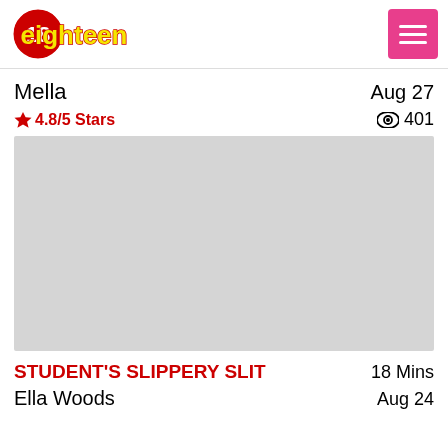18eighteen | STUDENT'S SLIPPERY SLIT
Mella    Aug 27
4.8/5 Stars    401
[Figure (photo): Gray placeholder thumbnail image for a video]
STUDENT'S SLIPPERY SLIT    18 Mins
Ella Woods    Aug 24